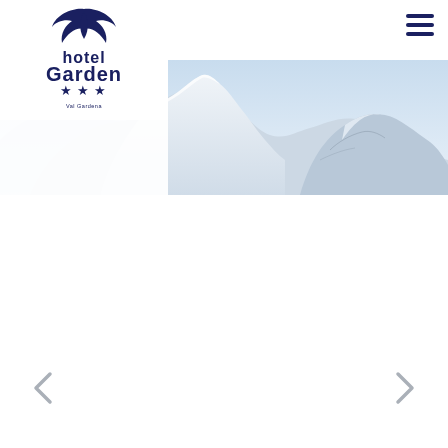[Figure (logo): Hotel Garden three-star logo with stylized wing/flame icon above text 'hotel Garden' with three stars and small text below]
[Figure (photo): Panoramic photograph of snow-covered mountain peaks with light blue sky, Dolomites alpine scenery]
[Figure (other): Left navigation arrow (chevron/arrow pointing left) for image slider]
[Figure (other): Right navigation arrow (chevron/arrow pointing right) for image slider]